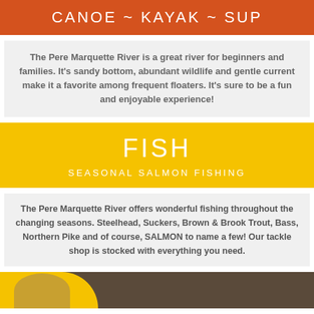CANOE ~ KAYAK ~ SUP
The Pere Marquette River is a great river for beginners and families. It's sandy bottom, abundant wildlife and gentle current make it a favorite among frequent floaters. It's sure to be a fun and enjoyable experience!
FISH
SEASONAL SALMON FISHING
The Pere Marquette River offers wonderful fishing throughout the changing seasons. Steelhead, Suckers, Brown & Brook Trout, Bass, Northern Pike and of course, SALMON to name a few! Our tackle shop is stocked with everything you need.
[Figure (photo): Bottom photo strip showing a person in a yellow duck float costume]